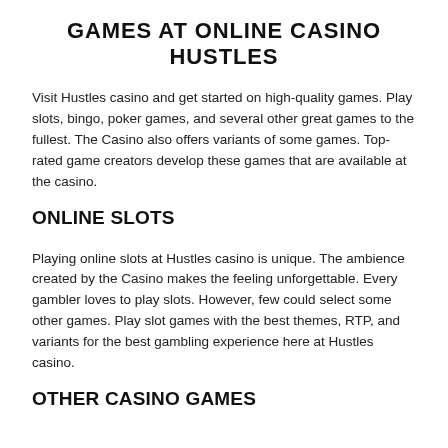GAMES AT ONLINE CASINO HUSTLES
Visit Hustles casino and get started on high-quality games. Play slots, bingo, poker games, and several other great games to the fullest. The Casino also offers variants of some games. Top-rated game creators develop these games that are available at the casino.
ONLINE SLOTS
Playing online slots at Hustles casino is unique. The ambience created by the Casino makes the feeling unforgettable. Every gambler loves to play slots. However, few could select some other games. Play slot games with the best themes, RTP, and variants for the best gambling experience here at Hustles casino.
OTHER CASINO GAMES